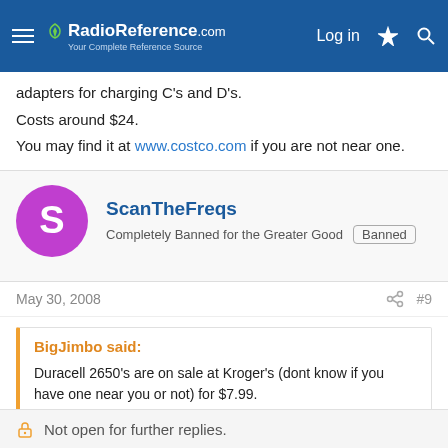RadioReference.com — Log in
adapters for charging C's and D's.
Costs around $24.
You may find it at www.costco.com if you are not near one.
ScanTheFreqs
Completely Banned for the Greater Good  [Banned]
May 30, 2008  #9
BigJimbo said:
Duracell 2650's are on sale at Kroger's (dont know if you have one near you or not) for $7.99.
$6.99 at the kroger store here, they have been for quite a few months now, needless to say i now own SEVERAL packages
Not open for further replies.